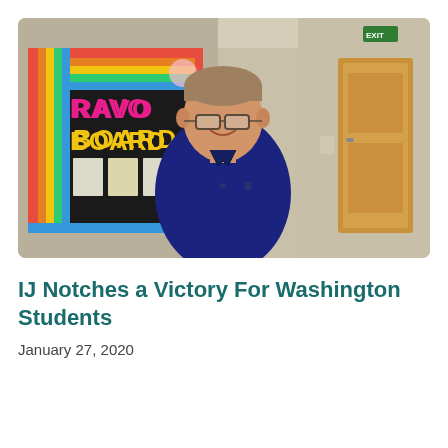[Figure (photo): A middle-aged man wearing glasses and a dark navy polo shirt smiling in a school hallway. Behind him is a colorful bulletin board reading 'BRAVO BOARD' with rainbow-striped borders, student papers, and a wooden door visible in the background.]
IJ Notches a Victory For Washington Students
January 27, 2020